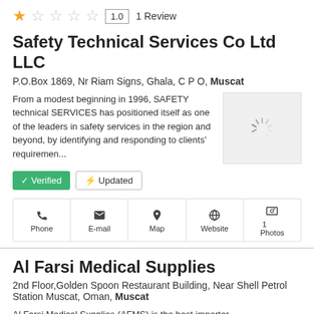★☆☆☆☆  1.0  1 Review
Safety Technical Services Co Ltd LLC
P.O.Box 1869, Nr Riam Signs, Ghala, C P O, Muscat
From a modest beginning in 1996, SAFETY technical SERVICES has positioned itself as one of the leaders in safety services in the region and beyond, by identifying and responding to clients' requiremen...
[Figure (photo): Loading spinner image placeholder]
✓ Verified  ⚡ Updated
Phone | E-mail | Map | Website | 1 Photos
Al Farsi Medical Supplies
2nd Floor,Golden Spoon Restaurant Building, Near Shell Petrol Station Muscat, Oman, Muscat
Al Farsi Medical Supplies (AFMS) is the best importer and distributor of medical, dental equipment and disposables in the Sultanate of Oman. In the dental field, we offer our
[Figure (logo): Al Farsi Medical Supplies logo - blue fish/arc shape]